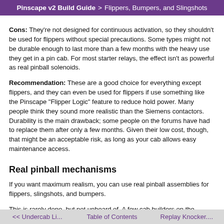Pinscape v2 Build Guide > Flippers, Bumpers, and Slingshots
Cons: They're not designed for continuous activation, so they shouldn't be used for flippers without special precautions. Some types might not be durable enough to last more than a few months with the heavy use they get in a pin cab. For most starter relays, the effect isn't as powerful as real pinball solenoids.
Recommendation: These are a good choice for everything except flippers, and they can even be used for flippers if use something like the Pinscape "Flipper Logic" feature to reduce hold power. Many people think they sound more realistic than the Siemens contactors. Durability is the main drawback; some people on the forums have had to replace them after only a few months. Given their low cost, though, that might be an acceptable risk, as long as your cab allows easy maintenance access.
Real pinball mechanisms
If you want maximum realism, you can use real pinball assemblies for flippers, slingshots, and bumpers.
This is rarely done, but not unheard of. A few cab builders on the
<< Undercab Li...    Table of Contents    Replay Knocker....